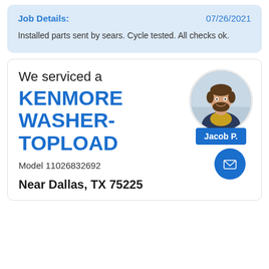Job Details: 07/26/2021
Installed parts sent by sears. Cycle tested. All checks ok.
We serviced a
KENMORE WASHER-TOPLOAD
Model 11026832692
[Figure (photo): Circular photo of technician Jacob P.]
Near Dallas, TX 75225